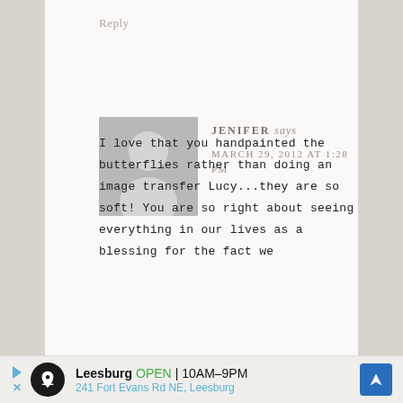Reply
[Figure (illustration): Default avatar/silhouette of a person, gray square with white circle head and shoulder shape]
JENIFER says
MARCH 29, 2012 AT 1:28 PM
I love that you handpainted the butterflies rather than doing an image transfer Lucy...they are so soft! You are so right about seeing everything in our lives as a blessing for the fact we
[Figure (other): Advertisement banner: Leesburg OPEN 10AM-9PM, 241 Fort Evans Rd NE, Leesburg with navigation arrow icon]